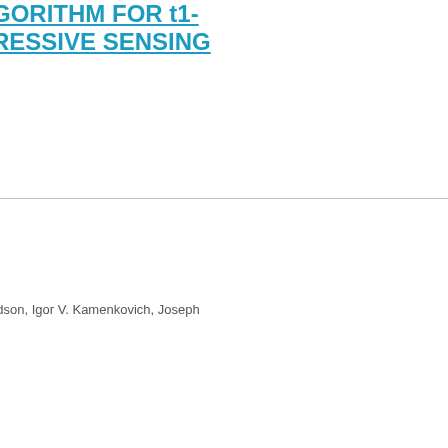GORITHM FOR t1-
RESSIVE SENSING
rdson, Igor V. Kamenkovich, Joseph
Next 10 →
[Figure (logo): Solr logo with orange sunburst icon and 'Solr' text]
cy Policy   Help   Data   Source   Contact Us
f Information Sciences and Technology
vania State University